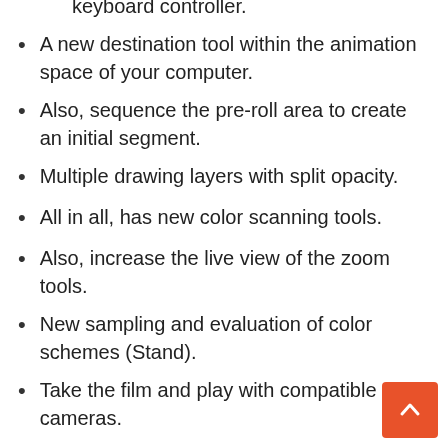keyboard controller.
A new destination tool within the animation space of your computer.
Also, sequence the pre-roll area to create an initial segment.
Multiple drawing layers with split opacity.
All in all, has new color scanning tools.
Also, increase the live view of the zoom tools.
New sampling and evaluation of color schemes (Stand).
Take the film and play with compatible cameras.
The information about the DMX light is customized.